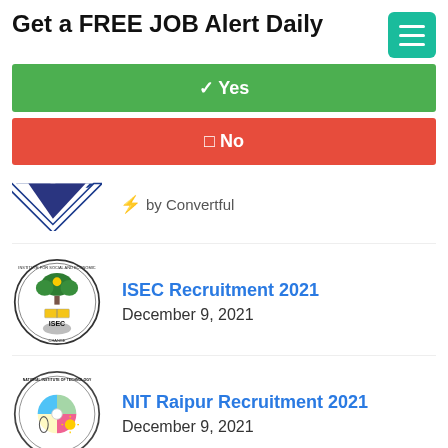Get a FREE JOB Alert Daily
✓ Yes
✗ No
[Figure (logo): Convertful logo with V-shaped chevron and lightning bolt icon with 'by Convertful' text]
[Figure (logo): ISEC (Institute for Social and Economic Change) circular badge logo]
ISEC Recruitment 2021
December 9, 2021
[Figure (logo): NIT Raipur (National Institute of Technology) circular badge logo]
NIT Raipur Recruitment 2021
December 9, 2021